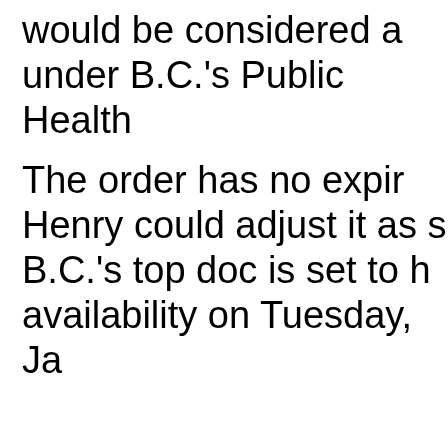would be considered a... under B.C.'s Public Health...
The order has no expir... Henry could adjust it as s... B.C.'s top doc is set to h... availability on Tuesday, Ja...
Back to Homepage
[Figure (infographic): Three blue rounded square icon buttons: a pencil/edit icon, a person/user icon, and a speech bubble/comment icon, with labels Typos, News Tips, Forums below them.]